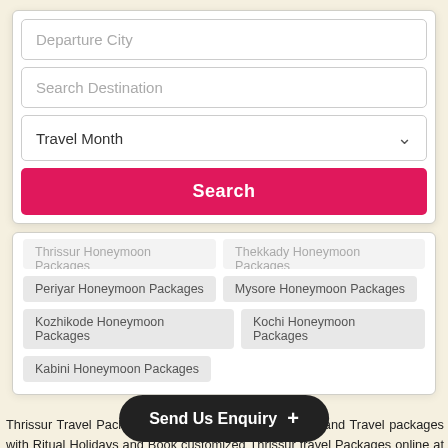[Figure (screenshot): Search form with Departure City, Search Destination, Travel Month fields and a pink Search button]
Thrissur Honeymoon Packages
Thekkady Honeymoon Packages
Periyar Honeymoon Packages
Mysore Honeymoon Packages
Kozhikode Honeymoon Packages
Kochi Honeymoon Packages
Kabini Honeymoon Packages
Thrissur Travel Packages - We Explore Thrissur Tours and Travel packages with Ritual Holidays and Book customized Thrissur travel Packages online at discounted Price.
Thrissur Honeymoon Packages Price from Ritual Holidays. Thrissur Holiday packages more exiciting -
[Figure (screenshot): Send Us Enquiry dark pill button overlay at the bottom]